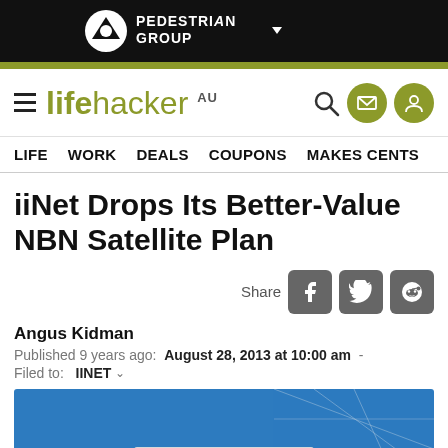PEDESTRIAN GROUP
lifehacker AU
LIFE  WORK  DEALS  COUPONS  MAKES CENTS
iiNet Drops Its Better-Value NBN Satellite Plan
Share
Angus Kidman
Published 9 years ago:  August 28, 2013 at 10:00 am  -
Filed to:  IINET
[Figure (photo): Partial view of a satellite/NBN equipment photo with blue background]